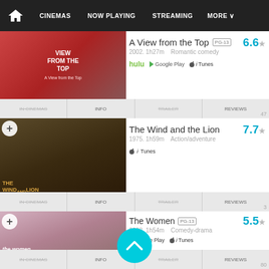CINEMAS  NOW PLAYING  STREAMING  MORE
[Figure (screenshot): Movie poster for A View from the Top]
A View from the Top PG-13 6.6
2002. 1h27m  Romantic comedy
hulu  Google Play  iTunes
IN CINEMAS  INFO  TRAILER  REVIEWS  47
[Figure (screenshot): Movie poster for The Wind and the Lion]
The Wind and the Lion 7.7
1975. 1h59m  Action/adventure
iTunes
IN CINEMAS  INFO  TRAILER  REVIEWS  3
[Figure (screenshot): Movie poster for The Women]
The Women PG-13 5.5
2008. 1h54m  Comedy-drama
Google Play  iTunes
IN CINEMAS  INFO  TRAILER  REVIEWS  80